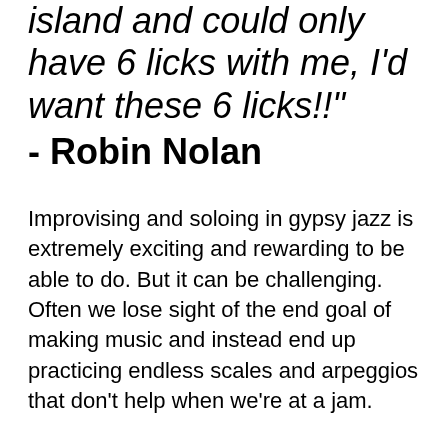island and could only have 6 licks with me, I'd want these 6 licks!!"
- Robin Nolan
Improvising and soloing in gypsy jazz is extremely exciting and rewarding to be able to do. But it can be challenging. Often we lose sight of the end goal of making music and instead end up practicing endless scales and arpeggios that don't help when we're at a jam.
I want to make soloing as approachable